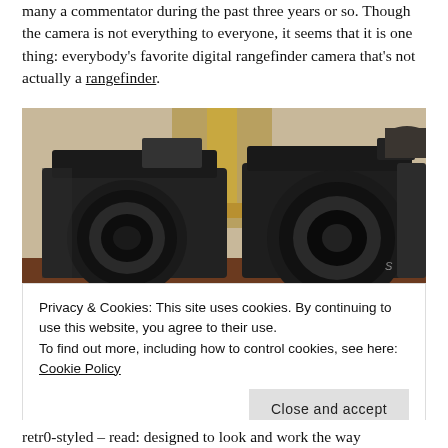many a commentator during the past three years or so. Though the camera is not everything to everyone, it seems that it is one thing: everybody's favorite digital rangefinder camera that's not actually a rangefinder.
[Figure (photo): Two black digital cameras side by side on a wooden table — a smaller retro film camera on the left and a Fujifilm X-series camera on the right, with a brass lamp in the background.]
Privacy & Cookies: This site uses cookies. By continuing to use this website, you agree to their use. To find out more, including how to control cookies, see here: Cookie Policy
Close and accept
retr0-styled – read: designed to look and work the way